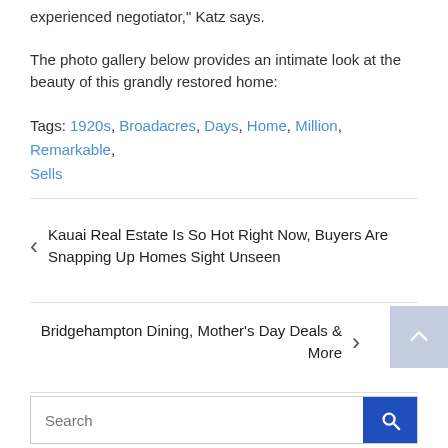experienced negotiator," Katz says.
The photo gallery below provides an intimate look at the beauty of this grandly restored home:
Tags: 1920s, Broadacres, Days, Home, Million, Remarkable, Sells
< Kauai Real Estate Is So Hot Right Now, Buyers Are Snapping Up Homes Sight Unseen
Bridgehampton Dining, Mother’s Day Deals & More >